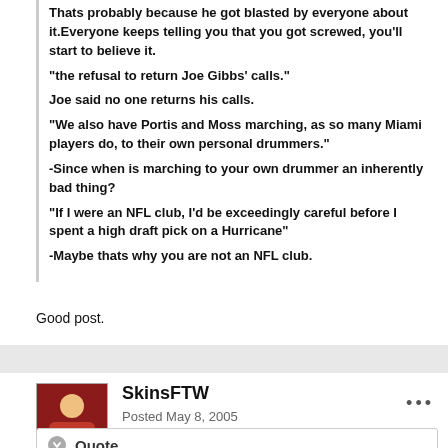Thats probably because he got blasted by everyone about it.Everyone keeps telling you that you got screwed, you'll start to believe it.
"the refusal to return Joe Gibbs' calls."
Joe said no one returns his calls.
"We also have Portis and Moss marching, as so many Miami players do, to their own personal drummers."
-Since when is marching to your own drummer an inherently bad thing?
"If I were an NFL club, I'd be exceedingly careful before I spent a high draft pick on a Hurricane"
-Maybe thats why you are not an NFL club.
Good post.
SkinsFTW
Posted May 8, 2005
Quote